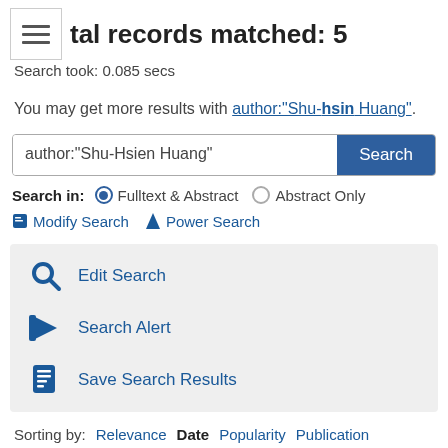tal records matched: 5
Search took: 0.085 secs
You may get more results with author:"Shu-hsin Huang".
author:"Shu-Hsien Huang" [Search box] Search in: Fulltext & Abstract (selected), Abstract Only. Modify Search, Power Search
Edit Search, Search Alert, Save Search Results
Sorting by: Relevance  Date  Popularity  Publication